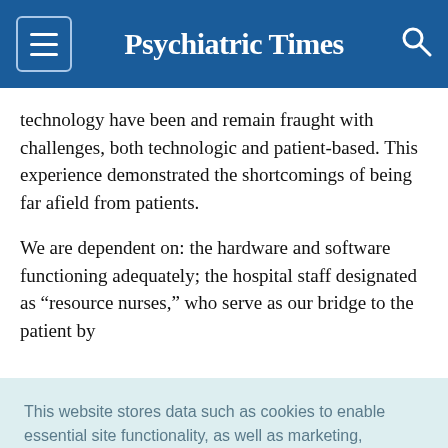Psychiatric Times
technology have been and remain fraught with challenges, both technologic and patient-based. This experience demonstrated the shortcomings of being far afield from patients.
We are dependent on: the hardware and software functioning adequately; the hospital staff designated as “resource nurses,” who serve as our bridge to the patient by
This website stores data such as cookies to enable essential site functionality, as well as marketing, personalization, and analytics. Cookie Policy
Accept
Deny